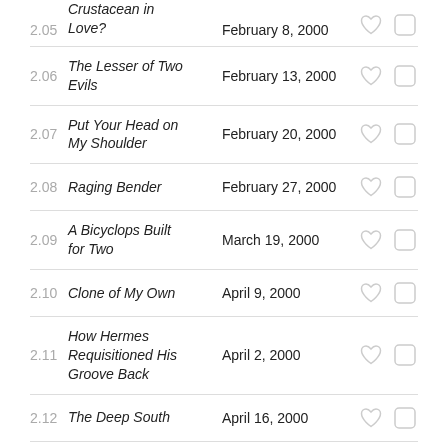2.05 Crustacean in Love? February 8, 2000
2.06 The Lesser of Two Evils February 13, 2000
2.07 Put Your Head on My Shoulder February 20, 2000
2.08 Raging Bender February 27, 2000
2.09 A Bicyclops Built for Two March 19, 2000
2.10 Clone of My Own April 9, 2000
2.11 How Hermes Requisitioned His Groove Back April 2, 2000
2.12 The Deep South April 16, 2000
2.13 Bender Gets Made April 30, 2000
2.14 Mother's Day May 14, 2000